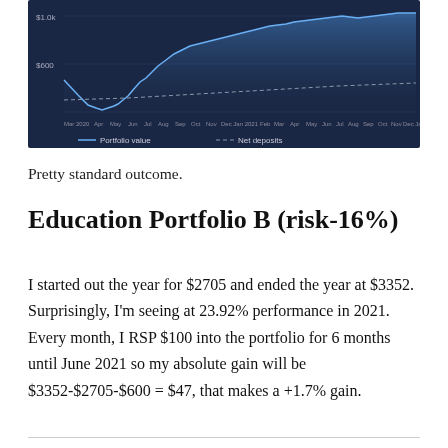[Figure (line-chart): Line chart showing portfolio value and net deposits from Mar 2020 to Jan 2023, with portfolio value rising from a dip around $600 to about $1.0k+, and net deposits shown as a flat/dashed line.]
Pretty standard outcome.
Education Portfolio B (risk-16%)
I started out the year for $2705 and ended the year at $3352. Surprisingly, I'm seeing at 23.92% performance in 2021. Every month, I RSP $100 into the portfolio for 6 months until June 2021 so my absolute gain will be $3352-$2705-$600 = $47, that makes a +1.7% gain.